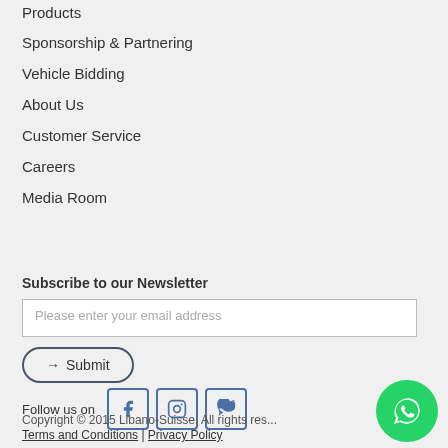Products
Sponsorship & Partnering
Vehicle Bidding
About Us
Customer Service
Careers
Media Room
Subscribe to our Newsletter
Please enter your email address
→ Submit
Follow us on
[Figure (illustration): Facebook, Instagram, Twitter social media icons]
Copyright © 2015 Libano-Suisse. All rights res...
Terms and Conditions | Privacy Policy